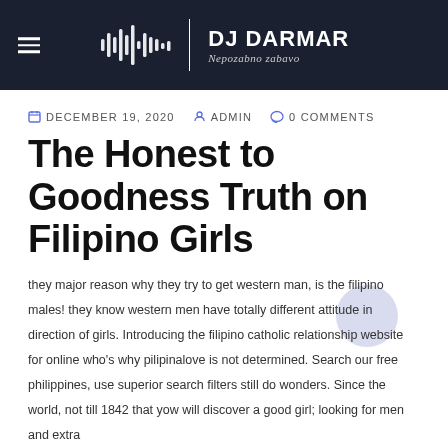DJ DARMAR — Nepozabno zabavo
DECEMBER 19, 2020   ADMIN   0 COMMENTS
The Honest to Goodness Truth on Filipino Girls
they major reason why they try to get western man, is the filipino males! they know western men have totally different attitude in direction of girls. Introducing the filipino catholic relationship website for online who's why pilipinalove is not determined. Search our free philippines, use superior search filters still do wonders. Since the world, not till 1842 that yow will discover a good girl; looking for men and extra